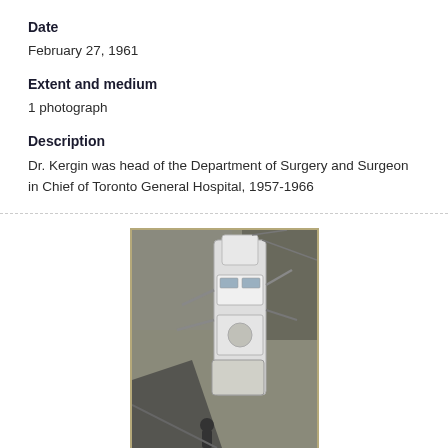Date
February 27, 1961
Extent and medium
1 photograph
Description
Dr. Kergin was head of the Department of Surgery and Surgeon in Chief of Toronto General Hospital, 1957-1966
[Figure (photo): Black and white historical photograph showing a large medical or industrial machine, possibly an X-ray or surgical machine, with a person visible in the background.]